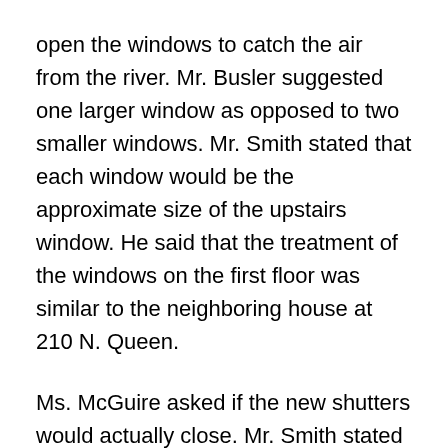open the windows to catch the air from the river. Mr. Busler suggested one larger window as opposed to two smaller windows. Mr. Smith stated that each window would be the approximate size of the upstairs window. He said that the treatment of the windows on the first floor was similar to the neighboring house at 210 N. Queen.
Ms. McGuire asked if the new shutters would actually close. Mr. Smith stated that it would depend on what could be done with the current siding because at this point they were not able to remove the siding.
Ms. McGuire stated that if the front door is going